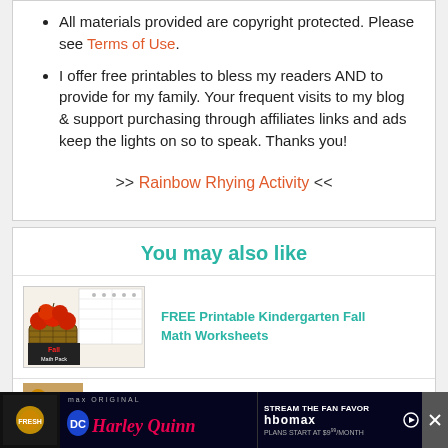All materials provided are copyright protected. Please see Terms of Use.
I offer free printables to bless my readers AND to provide for my family. Your frequent visits to my blog & support purchasing through affiliates links and ads keep the lights on so to speak. Thanks you!
>> Rainbow Rhying Activity <<
You may also like
[Figure (illustration): Thumbnail image for Fall Math Pack worksheet activity with apples and basket]
FREE Printable Kindergarten Fall Math Worksheets
[Figure (screenshot): Advertisement banner for HBO Max Harley Quinn stream the fan favorite]